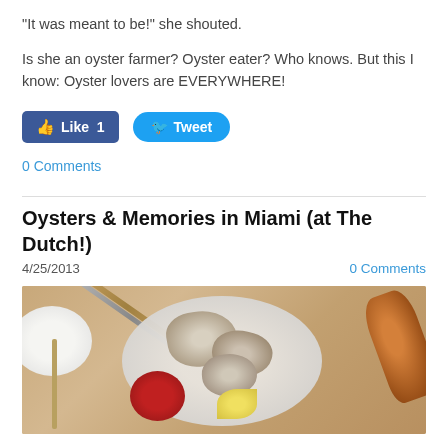“It was meant to be!” she shouted.
Is she an oyster farmer? Oyster eater? Who knows. But this I know: Oyster lovers are EVERYWHERE!
[Figure (other): Facebook Like button showing count of 1 and Twitter Tweet button]
0 Comments
Oysters & Memories in Miami (at The Dutch!)
4/25/2013
0 Comments
[Figure (photo): Overhead photo of oysters on a plate with sauce, cutlery, lemon, and condiment bottle on a wooden table]